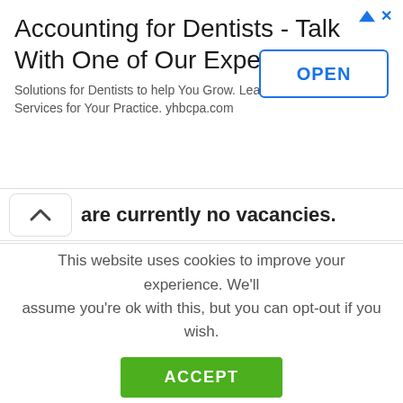[Figure (screenshot): Advertisement banner: 'Accounting for Dentists - Talk With One of Our Experts' with OPEN button and subtitle text about yhbcpa.com]
are currently no vacancies.
Have something to add to this story? Give us a shout by email, Twitter, or text/call the tipline at 202-505-8885. As always, all tips are anonymous.
This website uses cookies to improve your experience. We'll assume you're ok with this, but you can opt-out if you wish. ACCEPT